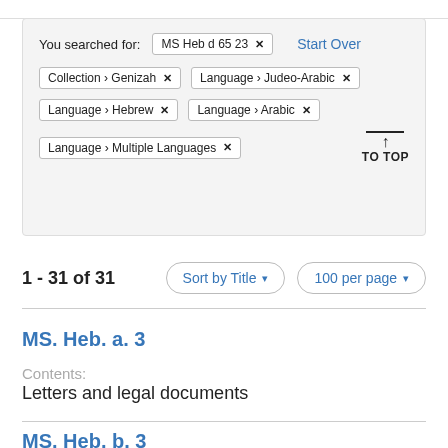You searched for: MS Heb d 65 23 [x]   Start Over
Collection > Genizah [x]   Language > Judeo-Arabic [x]
Language > Hebrew [x]   Language > Arabic [x]
Language > Multiple Languages [x]
TO TOP
1 - 31 of 31
Sort by Title ▾
100 per page ▾
MS. Heb. a. 3
Contents:
Letters and legal documents
MS. Heb. b. 3